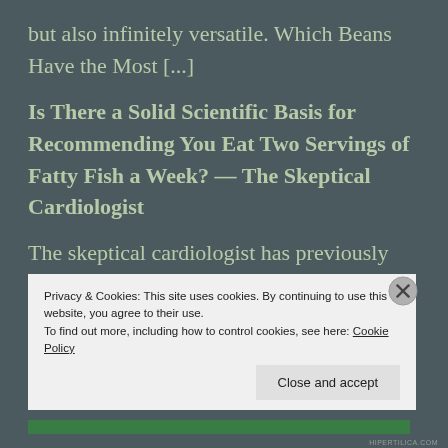but also infinitely versatile. Which Beans Have the Most [...]
Is There a Solid Scientific Basis for Recommending You Eat Two Servings of Fatty Fish a Week? — The Skeptical Cardiologist
The skeptical cardiologist has previously agreed with widespread dietary guideline
Privacy & Cookies: This site uses cookies. By continuing to use this website, you agree to their use. To find out more, including how to control cookies, see here: Cookie Policy
Close and accept